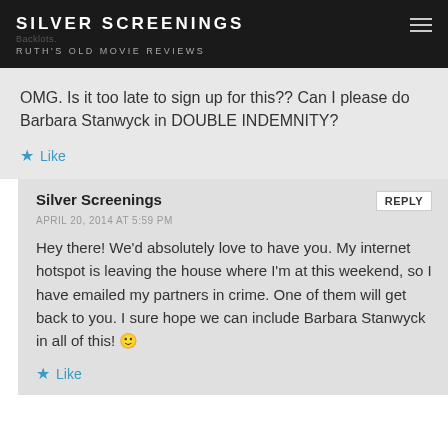SILVER SCREENINGS
Backlots.
RUTH'S OLD MOVIE REVIEWS
OMG. Is it too late to sign up for this?? Can I please do Barbara Stanwyck in DOUBLE INDEMNITY?
Silver Screenings
APRIL 20, 2014 AT 5:59 PM
Hey there! We'd absolutely love to have you. My internet hotspot is leaving the house where I'm at this weekend, so I have emailed my partners in crime. One of them will get back to you. I sure hope we can include Barbara Stanwyck in all of this! 🙂